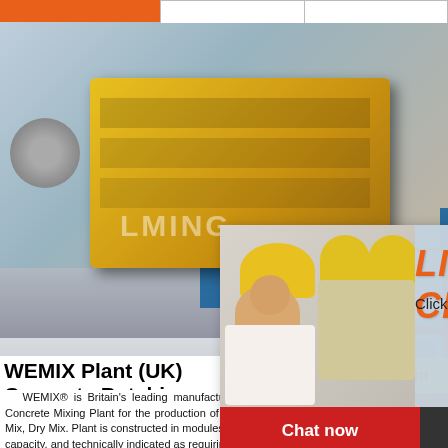[Figure (photo): Industrial jaw crusher machine (yellow/gold colored) in a factory, with large flywheel on the right and blue support legs, LIMING brand visible]
[Figure (photo): Live chat popup overlay showing woman in hard hat and coworkers, with 'LIVE CHAT - Click for a Free Consultation' heading and red 'Chat now' / dark 'Chat later' buttons]
[Figure (photo): Industrial plant / construction site with aggregate piles and conveyor structures]
[Figure (photo): Right orange sidebar showing small images of various crushing/mining equipment machines]
WEMIX Plant (UK) Concrete Batching
WEMIX® is Britain's leading manufacturer of Concrete Mixing Plant for the production of high Wet Mix, Dry Mix. Plant is constructed in modules capacity, and technically indicated as requiring